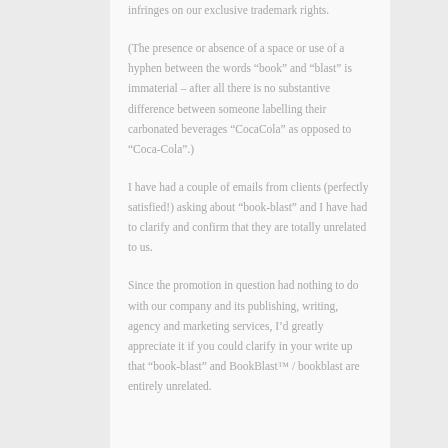infringes on our exclusive trademark rights.

(The presence or absence of a space or use of a hyphen between the words “book” and “blast” is immaterial – after all there is no substantive difference between someone labelling their carbonated beverages “CocaCola” as opposed to “Coca-Cola”.)

I have had a couple of emails from clients (perfectly satisfied!) asking about “book-blast” and I have had to clarify and confirm that they are totally unrelated to us.

Since the promotion in question had nothing to do with our company and its publishing, writing, agency and marketing services, I’d greatly appreciate it if you could clarify in your write up that “book-blast” and BookBlast™ / bookblast are entirely unrelated.